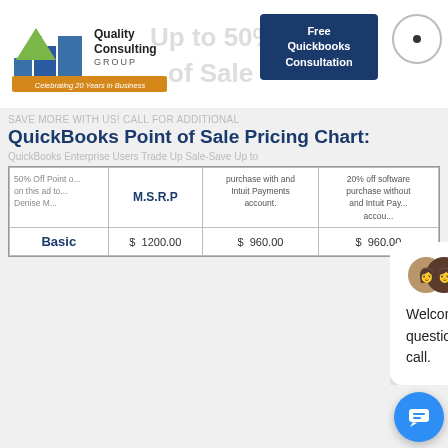[Figure (logo): Quality Consulting Group logo with building graphic and 'Celebrating 20 Years in Business' banner]
[Figure (other): Blue button reading 'Free Quickbooks Consultation']
[Figure (other): Circle icon with dot in center]
SAVE MORE WITH US! CALL FOR ADDITIONAL
QuickBooks Point of Sale Pricing Chart:
QuickBooks Enterprise Users Trade Up Sale-Save Up to
|  | M.S.R.P |  |  |
| --- | --- | --- | --- |
| Enjoy 50% Off Point of...
Also men... on this ad...
Denise M... | M.S.R.P | purchase with and Intuit Payments account. | 20% off software purchase without and Intuit Pay... accou... |
| Basic | $ 1200.00 | $ 960.00 | $ 960.00 |
[Figure (other): Chat overlay with two avatars and welcome message: Welcome to our site. I am here for you to answer any questions you have or to schedule you a complementary call.]
[Figure (other): Blue circular chat button in bottom right corner]